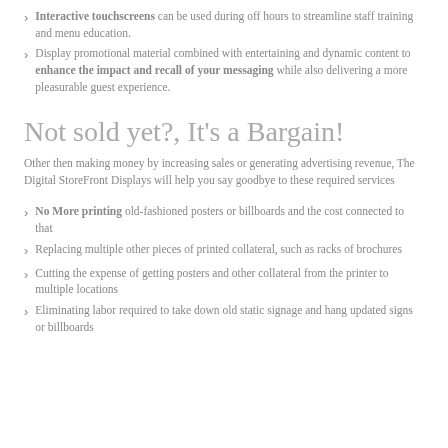Interactive touchscreens can be used during off hours to streamline staff training and menu education.
Display promotional material combined with entertaining and dynamic content to enhance the impact and recall of your messaging while also delivering a more pleasurable guest experience.
Not sold yet?, It’s a Bargain!
Other then making money by increasing sales or generating advertising revenue, The Digital StoreFront Displays will help you say goodbye to these required services
No More printing old-fashioned posters or billboards and the cost connected to that
Replacing multiple other pieces of printed collateral, such as racks of brochures
Cutting the expense of getting posters and other collateral from the printer to multiple locations
Eliminating labor required to take down old static signage and hang updated signs or billboards